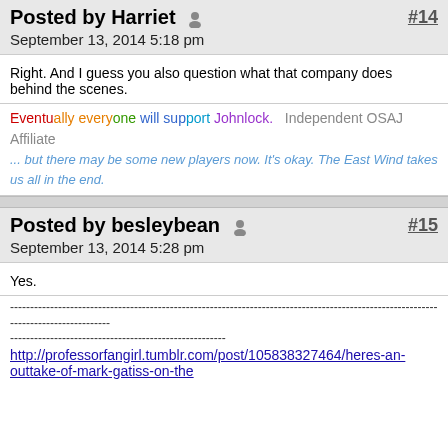Posted by Harriet  #14
September 13, 2014 5:18 pm
Right. And I guess you also question what that company does behind the scenes.
Eventually everyone will support Johnlock.   Independent OSAJ Affiliate
... but there may be some new players now. It's okay. The East Wind takes us all in the end.
Posted by besleybean  #15
September 13, 2014 5:28 pm
Yes.
------------------------------------------------------------------------------------------------------------------------------------
------------------------------------------------------
http://professorfangirl.tumblr.com/post/105838327464/heres-an-outtake-of-mark-gatiss-on-the